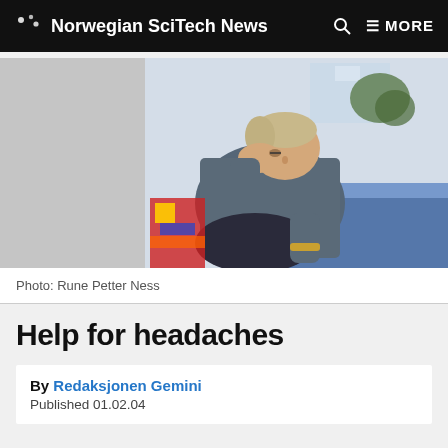Norwegian SciTech News
[Figure (photo): A person sitting on a bed with head resting on hand, appearing to have a headache, wearing a grey shirt, with colorful items in background.]
Photo: Rune Petter Ness
Help for headaches
By Redaksjonen Gemini
Published 01.02.04